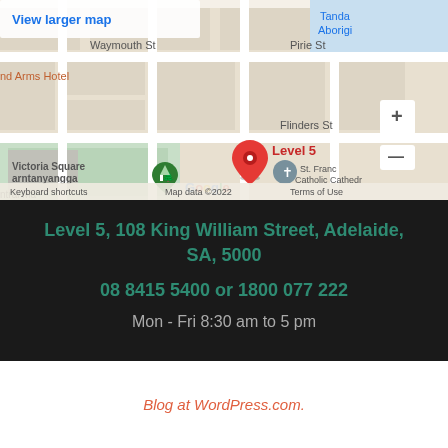[Figure (map): Google Maps screenshot showing Level 5, 108 King William Street, Adelaide. Shows streets including Waymouth St, Pirie St, Flinders St, Victoria Square Tarntanyangga, and nearby landmarks including nd Arms Hotel, St. Francis Catholic Cathedral. Red map pin labeled 'Level 5'. Green tree marker for Victoria Square. Blue cross marker for St. Francis. Tanda Aborigi label visible. Map data ©2022 credit and Terms of Use shown.]
Level 5, 108 King William Street, Adelaide, SA, 5000
08 8415 5400 or 1800 077 222
Mon - Fri 8:30 am to 5 pm
Blog at WordPress.com.